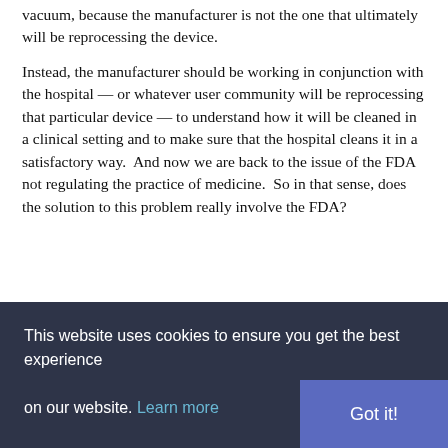vacuum, because the manufacturer is not the one that ultimately will be reprocessing the device.
Instead, the manufacturer should be working in conjunction with the hospital — or whatever user community will be reprocessing that particular device — to understand how it will be cleaned in a clinical setting and to make sure that the hospital cleans it in a satisfactory way.  And now we are back to the issue of the FDA not regulating the practice of medicine.  So in that sense, does the solution to this problem really involve the FDA?
Not sure how the FDA's new reprocessing guidance applies
This website uses cookies to ensure you get the best experience on our website. Learn more
Got it!